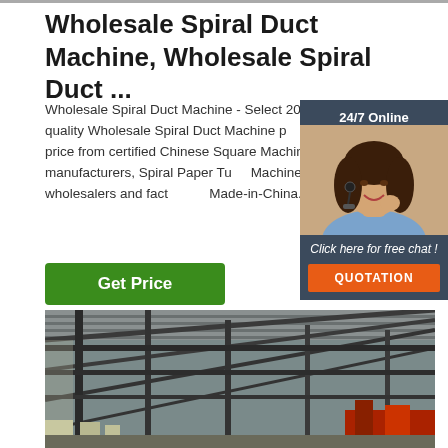Wholesale Spiral Duct Machine, Wholesale Spiral Duct ...
Wholesale Spiral Duct Machine - Select 2021 high quality Wholesale Spiral Duct Machine products in best price from certified Chinese Square Machine manufacturers, Spiral Paper Tube Machine suppliers, wholesalers and factory on Made-in-China.com
[Figure (other): Chat widget with woman wearing headset, '24/7 Online' label, 'Click here for free chat!' text, and orange QUOTATION button]
[Figure (photo): Interior of a factory/warehouse showing steel roof structure and beams]
Get Price